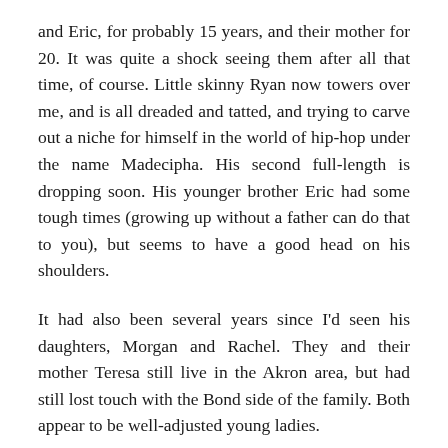and Eric, for probably 15 years, and their mother for 20. It was quite a shock seeing them after all that time, of course. Little skinny Ryan now towers over me, and is all dreaded and tatted, and trying to carve out a niche for himself in the world of hip-hop under the name Madecipha. His second full-length is dropping soon. His younger brother Eric had some tough times (growing up without a father can do that to you), but seems to have a good head on his shoulders.
It had also been several years since I'd seen his daughters, Morgan and Rachel. They and their mother Teresa still live in the Akron area, but had still lost touch with the Bond side of the family. Both appear to be well-adjusted young ladies.
The service itself was a bit depressing, and not just